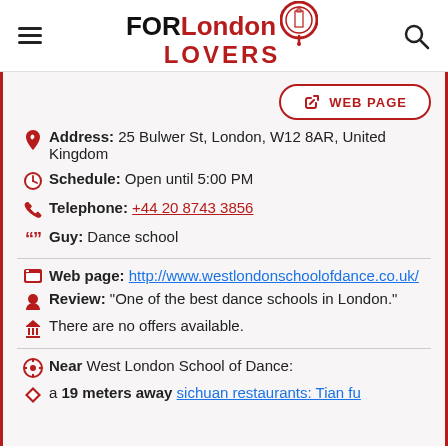FOR London LOVERS [logo]
WEB PAGE
Address: 25 Bulwer St, London, W12 8AR, United Kingdom
Schedule: Open until 5:00 PM
Telephone: +44 20 8743 3856
Guy: Dance school
Web page: http://www.westlondonschoolofdance.co.uk/
Review: "One of the best dance schools in London."
There are no offers available.
Near West London School of Dance:
a 19 meters away sichuan restaurants: Tian fu